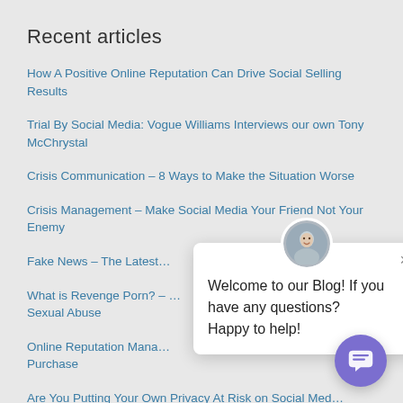Recent articles
How A Positive Online Reputation Can Drive Social Selling Results
Trial By Social Media: Vogue Williams Interviews our own Tony McChrystal
Crisis Communication – 8 Ways to Make the Situation Worse
Crisis Management – Make Social Media Your Friend Not Your Enemy
Fake News – The Latest…
What is Revenge Porn? – … Sexual Abuse
Online Reputation Mana… Purchase
Are You Putting Your Own Privacy At Risk on Social Med…
How to Talk to Your Kids About Online Safety
Three Recent Examples of Reputation Damage Caused by a Lack of Due Diligence
[Figure (screenshot): Chat popup overlay with avatar photo of a man, close button (×), and text 'Welcome to our Blog! If you have any questions? Happy to help!' with a purple chat button in the bottom right corner.]